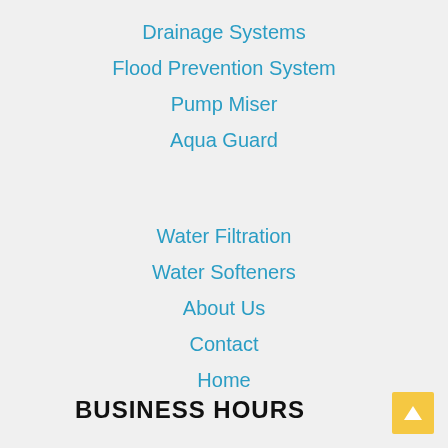Drainage Systems
Flood Prevention System
Pump Miser
Aqua Guard
Water Filtration
Water Softeners
About Us
Contact
Home
BUSINESS HOURS